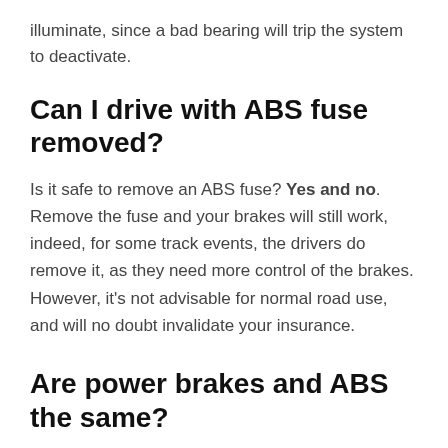illuminate, since a bad bearing will trip the system to deactivate.
Can I drive with ABS fuse removed?
Is it safe to remove an ABS fuse? Yes and no. Remove the fuse and your brakes will still work, indeed, for some track events, the drivers do remove it, as they need more control of the brakes. However, it's not advisable for normal road use, and will no doubt invalidate your insurance.
Are power brakes and ABS the same?
While both power brakes and anti-lock brakes have been